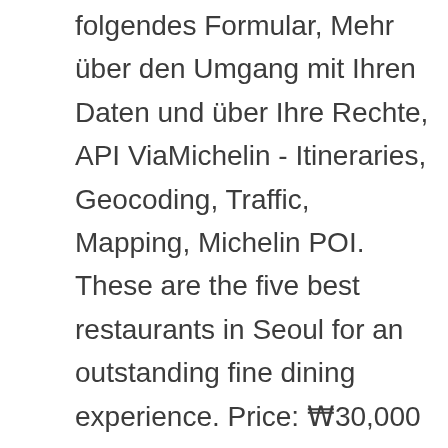folgendes Formular, Mehr über den Umgang mit Ihren Daten und über Ihre Rechte, API ViaMichelin - Itineraries, Geocoding, Traffic, Mapping, Michelin POI. These are the five best restaurants in Seoul for an outstanding fine dining experience. Price: ₩30,000 – ₩150,000Hours: Monday – Saturday 11:30-3:00pm, 6:00pm-9:30pm, Bicena is a one Michelin starred restaurant located on the 81st floor of the Signiel Seoul Hotel that serves traditional Korean style dishes. Price: Lunch ₩103,000/195,000 and Dinner ₩175,000/270,000 Um Ihre Anmeldung abzuschließen, klicken Sie einfach auf den Link in der E-Mail, die wir Ihnen soeben geschickt